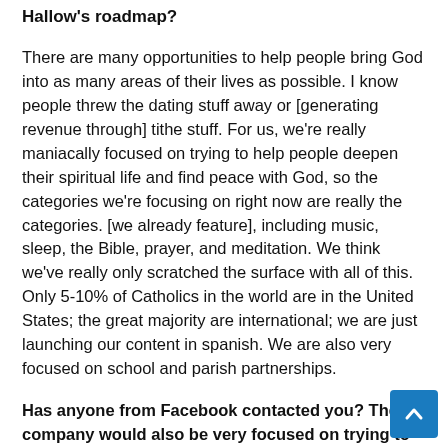Hallow's roadmap?
There are many opportunities to help people bring God into as many areas of their lives as possible. I know people threw the dating stuff away or [generating revenue through] tithe stuff. For us, we're really maniacally focused on trying to help people deepen their spiritual life and find peace with God, so the categories we're focusing on right now are really the categories. [we already feature], including music, sleep, the Bible, prayer, and meditation. We think we've really only scratched the surface with all of this. Only 5-10% of Catholics in the world are in the United States; the great majority are international; we are just launching our content in spanish. We are also very focused on school and parish partnerships.
Has anyone from Facebook contacted you? The company would also be very focused on trying to keep Christians on its platformincluding forming partnerships with faith groups.
Facebook has been very helpful for us in reaching out to people